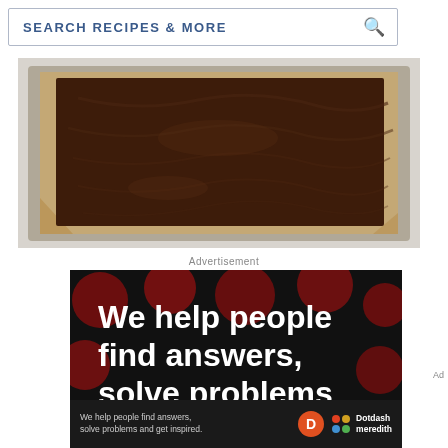SEARCH RECIPES & MORE
[Figure (photo): Top-down view of brownie batter in a rectangular metal baking pan lined with parchment paper, on a light gray surface.]
Advertisement
[Figure (illustration): Advertisement for Dotdash Meredith on black background with dark red polka dots. Large white bold text reads: We help people find answers, solve problems and get inspired. with a red period. Bottom bar shows smaller text repeating the tagline alongside Dotdash Meredith logo.]